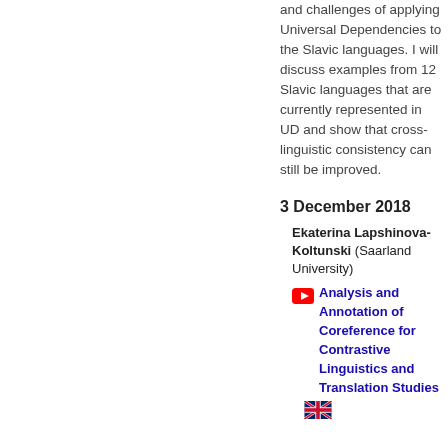and challenges of applying Universal Dependencies to the Slavic languages. I will discuss examples from 12 Slavic languages that are currently represented in UD and show that cross-linguistic consistency can still be improved.
3 December 2018
Ekaterina Lapshinova-Koltunski (Saarland University)
Analysis and Annotation of Coreference for Contrastive Linguistics and Translation Studies